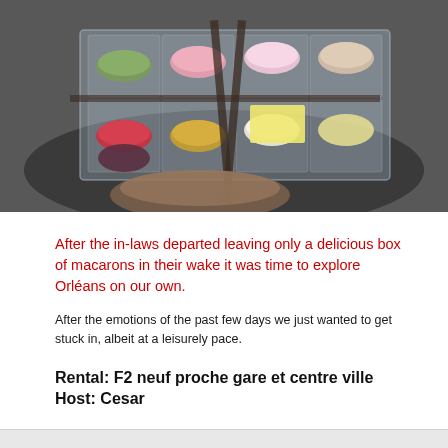[Figure (photo): A hand holding a clear plastic box of colorful French macarons (pink, green, red, yellow, white, brown) tied with a dark ribbon and a small yellow gift tag.]
After the in-laws departed leaving only a delicious box of macarons in their wake it was time to explore Orléans on our own.
After the emotions of the past few days we just wanted to get stuck in, albeit at a leisurely pace.
Rental: F2 neuf proche gare et centre ville
Host: Cesar